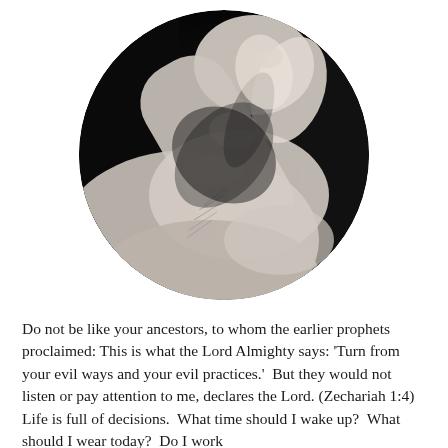[Figure (photo): Black and white circular cropped photograph of a man's hands clasped together in a contemplative or praying pose, close-up view showing fingers interlocked against a dark background.]
Do not be like your ancestors, to whom the earlier prophets proclaimed: This is what the Lord Almighty says: 'Turn from your evil ways and your evil practices.'  But they would not listen or pay attention to me, declares the Lord. (Zechariah 1:4) Life is full of decisions.  What time should I wake up?  What should I wear today?  Do I work